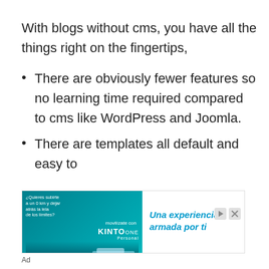With blogs without cms, you have all the things right on the fingertips,
There are obviously fewer features so no learning time required compared to cms like WordPress and Joomla.
There are templates all default and easy to
[Figure (other): Advertisement banner for Kinto One by Toyota, showing cars and text 'Una experiencia armada por ti']
Ad